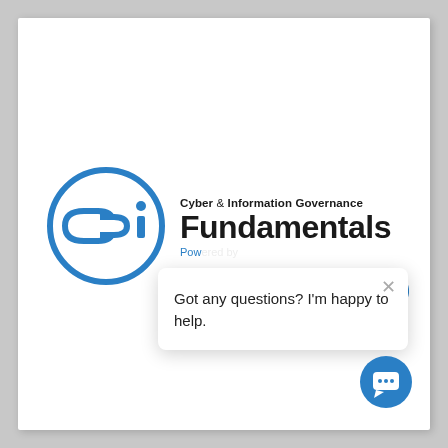[Figure (logo): Cyber & Information Governance Fundamentals logo: a blue circular chain-link icon on the left, with text 'Cyber & Information Governance Fundamentals' on the right, and a blue 'Powered by' subline partially visible.]
Got any questions? I'm happy to help.